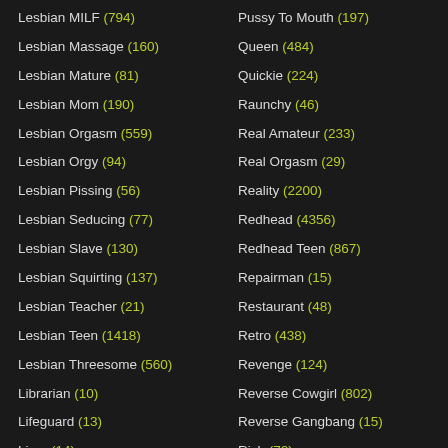Lesbian MILF (794)
Lesbian Massage (160)
Lesbian Mature (81)
Lesbian Mom (190)
Lesbian Orgasm (559)
Lesbian Orgy (94)
Lesbian Pissing (56)
Lesbian Seducing (77)
Lesbian Slave (130)
Lesbian Squirting (137)
Lesbian Teacher (21)
Lesbian Teen (1418)
Lesbian Threesome (560)
Librarian (10)
Lifeguard (13)
Limo (14)
Pussy To Mouth (197)
Queen (484)
Quickie (224)
Raunchy (46)
Real Amateur (233)
Real Orgasm (29)
Reality (2200)
Redhead (4356)
Redhead Teen (867)
Repairman (15)
Restaurant (48)
Retro (438)
Revenge (124)
Reverse Cowgirl (802)
Reverse Gangbang (15)
Rich (70)